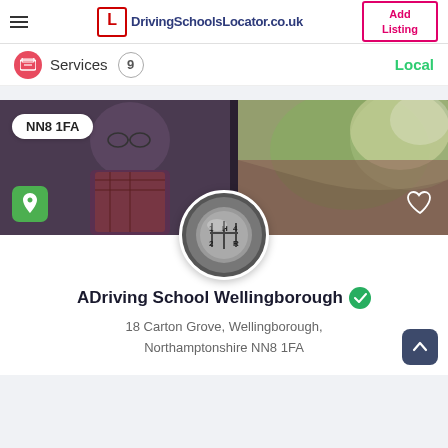DrivingSchoolsLocator.co.uk — Add Listing
Services 9 Local
[Figure (screenshot): Hero banner photo of a person in a car viewed from the side mirror, with a gear shift profile image overlay, postcode badge 'NN8 1FA', a green location button, and a heart icon.]
ADriving School Wellingborough
18 Carton Grove, Wellingborough, Northamptonshire NN8 1FA